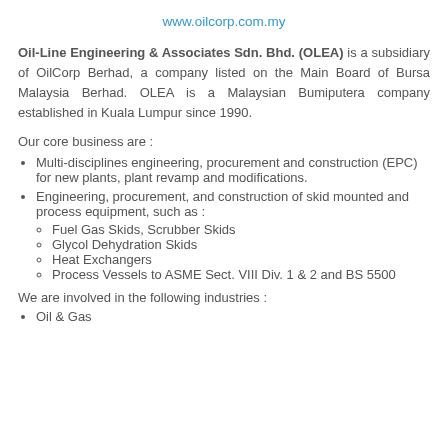www.oilcorp.com.my
Oil-Line Engineering & Associates Sdn. Bhd. (OLEA) is a subsidiary of OilCorp Berhad, a company listed on the Main Board of Bursa Malaysia Berhad. OLEA is a Malaysian Bumiputera company established in Kuala Lumpur since 1990.
Our core business are :
Multi-disciplines engineering, procurement and construction (EPC) for new plants, plant revamp and modifications.
Engineering, procurement, and construction of skid mounted and process equipment, such as :
Fuel Gas Skids, Scrubber Skids
Glycol Dehydration Skids
Heat Exchangers
Process Vessels to ASME Sect. VIII Div. 1 & 2 and BS 5500
We are involved in the following industries :
Oil & Gas